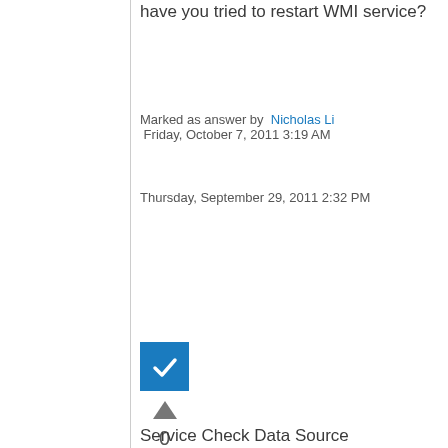have you tried to restart WMI service?
Marked as answer by  Nicholas Li
 Friday, October 7, 2011 3:19 AM
Thursday, September 29, 2011 2:32 PM
[Figure (other): Blue checkbox with white checkmark (answered indicator), upward triangle vote button, vote count 0, and Sign in to vote link]
Sign in to vote
Service Check Data Source